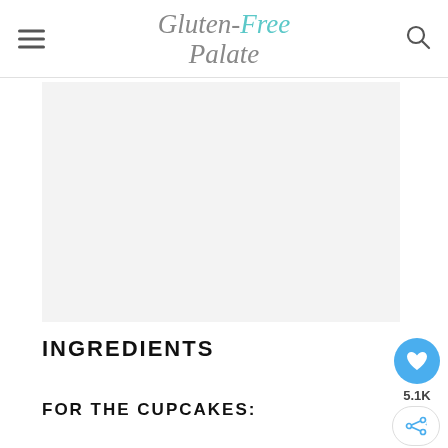Gluten-Free Palate
[Figure (photo): Light gray image placeholder area for a recipe photo]
INGREDIENTS
FOR THE CUPCAKES: